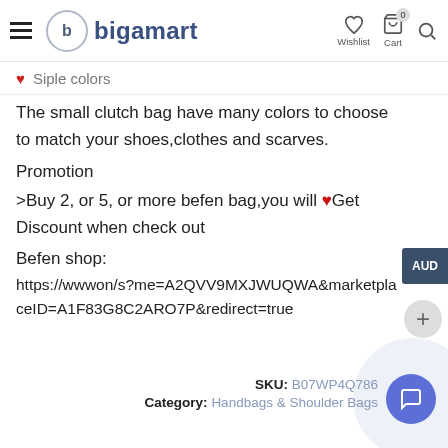bigamart — Wishlist, Cart, Search navigation
Siple colors
The small clutch bag have many colors to choose to match your shoes,clothes and scarves.
Promotion
>Buy 2, or 5, or more befen bag,you will ❤Get Discount when check out
Befen shop:
https://wwwon/s?me=A2QVV9MXJWUQWA&marketplaceID=A1F83G8C2ARO7P&redirect=true
SKU: B07WP4Q786
Category: Handbags & Shoulder Bags